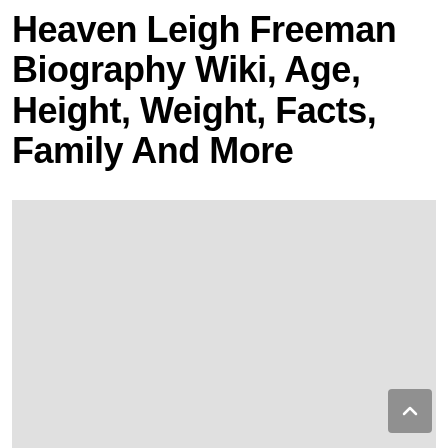Heaven Leigh Freeman Biography Wiki, Age, Height, Weight, Facts, Family And More
[Figure (photo): A large light gray placeholder image box below the title.]